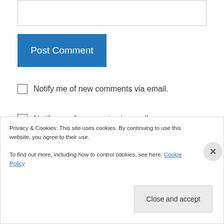[Figure (screenshot): Empty text input box at the top of the page]
Post Comment
Notify me of new comments via email.
Notify me of new posts via email.
Jo / thedesertecho on January 7, 2017 at 4:16 pm
I love the colour. What a fantastic idea!
Privacy & Cookies: This site uses cookies. By continuing to use this website, you agree to their use.
To find out more, including how to control cookies, see here: Cookie Policy
Close and accept